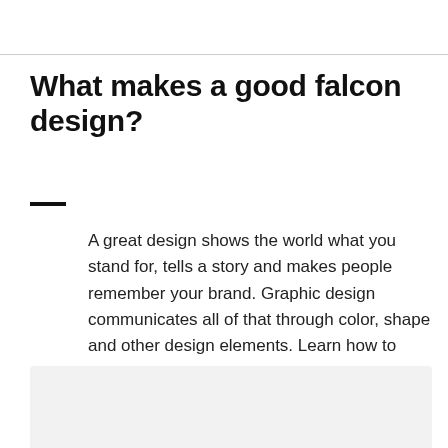What makes a good falcon design?
A great design shows the world what you stand for, tells a story and makes people remember your brand. Graphic design communicates all of that through color, shape and other design elements. Learn how to make your falcon design tell your brand’s story.